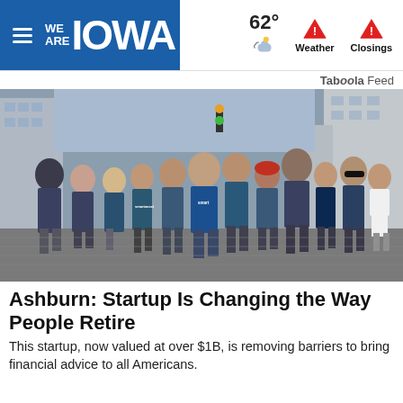WE ARE IOWA | 62° Weather Closings
Taboola Feed
[Figure (photo): Group photo of approximately 13 people wearing navy/teal SmartAsset branded t-shirts, standing on a cobblestone street in what appears to be a New York City setting with tall buildings in the background.]
Ashburn: Startup Is Changing the Way People Retire
This startup, now valued at over $1B, is removing barriers to bring financial advice to all Americans.